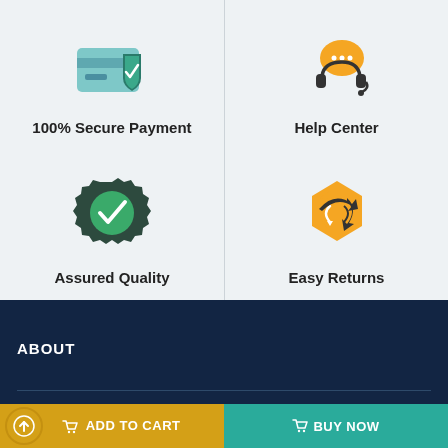[Figure (illustration): Icon: credit card with green shield checkmark — 100% Secure Payment]
100% Secure Payment
[Figure (illustration): Icon: orange headset with chat bubble — Help Center]
Help Center
[Figure (illustration): Icon: dark badge with green checkmark — Assured Quality]
Assured Quality
[Figure (illustration): Icon: orange hexagonal package with return arrow — Easy Returns]
Easy Returns
ABOUT
ADD TO CART
BUY NOW